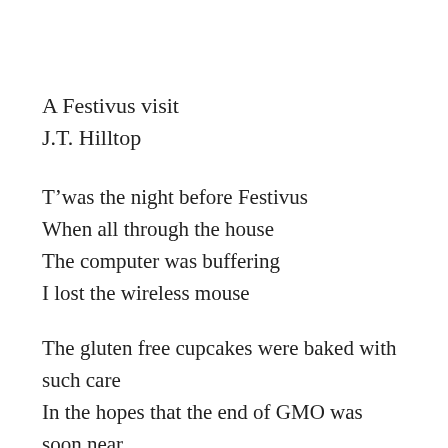A Festivus visit
J.T. Hilltop
T’was the night before Festivus
When all through the house
The computer was buffering
I lost the wireless mouse
The gluten free cupcakes were baked with such care
In the hopes that the end of GMO was soon near
The children ate sugar free Nestles they had snuck in their beds